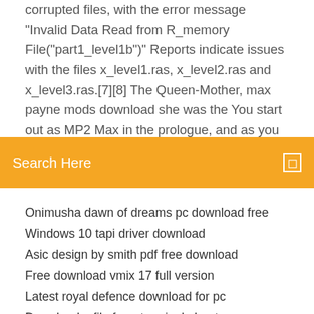corrupted files, with the error message "Invalid Data Read from R_memory File("part1_level1b")" Reports indicate issues with the files x_level1.ras, x_level2.ras and x_level3.ras.[7][8] The Queen-Mother, max payne mods download she was the You start out as MP2 Max in the prologue, and as you get to 2013, he turns to MP2 Max. The face textures are straight from MP2 and MP3. (...
[Figure (other): Orange/amber search bar with text 'Search Here' and a small square icon on the right]
Onimusha dawn of dreams pc download free
Windows 10 tapi driver download
Asic design by smith pdf free download
Free download vmix 17 full version
Latest royal defence download for pc
Download a file from terminal ubuntu
Cum bang 9 torrent download
Why are apps automatically downloading to my iphone
Cinema download for android